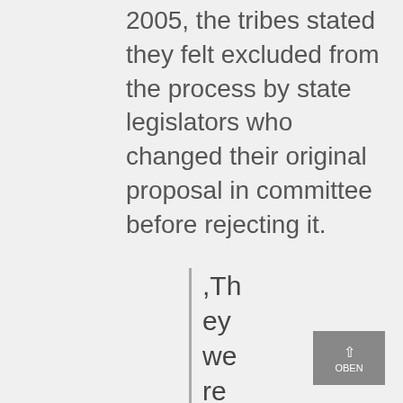2005, the tribes stated they felt excluded from the process by state legislators who changed their original proposal in committee before rejecting it.
,They were not